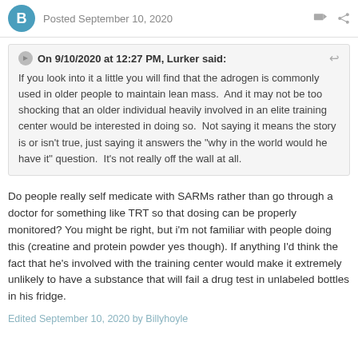Posted September 10, 2020
On 9/10/2020 at 12:27 PM, Lurker said:

If you look into it a little you will find that the adrogen is commonly used in older people to maintain lean mass.  And it may not be too shocking that an older individual heavily involved in an elite training center would be interested in doing so.  Not saying it means the story is or isn't true, just saying it answers the "why in the world would he have it" question.  It's not really off the wall at all.
Do people really self medicate with SARMs rather than go through a doctor for something like TRT so that dosing can be properly monitored? You might be right, but i'm not familiar with people doing this (creatine and protein powder yes though). If anything I'd think the fact that he's involved with the training center would make it extremely unlikely to have a substance that will fail a drug test in unlabeled bottles in his fridge.
Edited September 10, 2020 by Billyhoyle